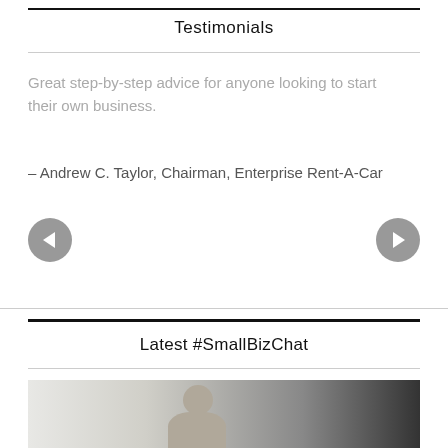Testimonials
Great step-by-step advice for anyone looking to start their own business.
– Andrew C. Taylor, Chairman, Enterprise Rent-A-Car
Latest #SmallBizChat
[Figure (photo): Photo of a woman with dark hair looking downward, seated, in an indoor setting]